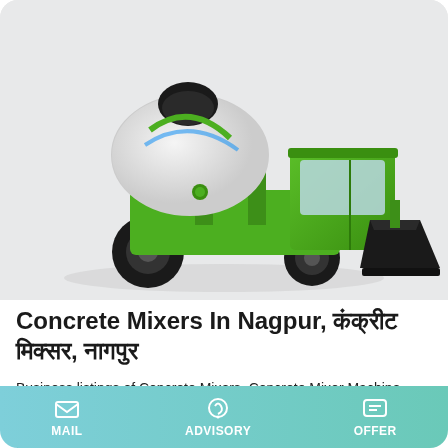[Figure (photo): A green self-loading concrete mixer truck with a large white drum and a front-loading bucket, photographed on a white/light grey background.]
Concrete Mixers In Nagpur, कंक्रीट मिक्सर, नागपुर
Business listings of Concrete Mixers, Concrete Mixer Machine manufacturers, suppliers and exporters in Nagpur, कंक्रीट मिक्सर नागपुर, महाराष्ट्र, Maharashtra along with their contact details & address. Find here Concrete Mixers, Concrete Mixer Machine,
MAIL   ADVISORY   OFFER